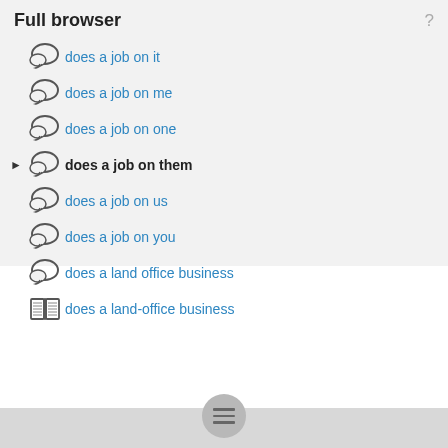Full browser
does a job on it
does a job on me
does a job on one
does a job on them
does a job on us
does a job on you
does a land office business
does a land-office business